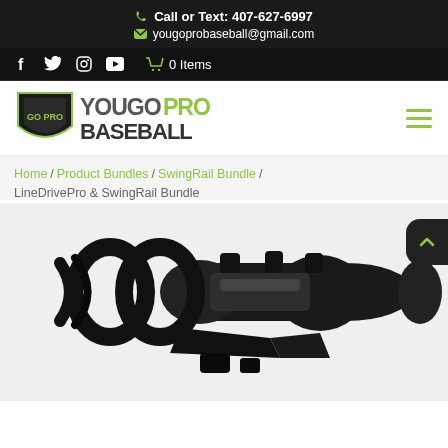Call or Text: 407-627-6997 | yougoprobaseball@gmail.com
[Figure (screenshot): Social media icons (Facebook, Twitter, Instagram, YouTube) and cart showing 0 Items]
[Figure (logo): YouGoPro Baseball logo with shield icon and green/gray text]
Home / Product Bundles / SwingRail Bundle / LineDrivePro & SwingRail Bundle
[Figure (photo): Product photo of LineDrivePro & SwingRail Bundle - black baseball training equipment/bat attachment device on white background]